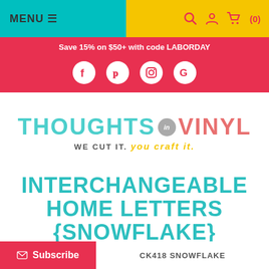MENU ≡   🔍 👤 🛒 (0)
Save 15% on $50+ with code LABORDAY
[Figure (logo): Social media icons: Facebook, Pinterest, Instagram, Google]
[Figure (logo): Thoughts in Vinyl logo — WE CUT IT. you craft it.]
INTERCHANGEABLE HOME LETTERS {SNOWFLAKE}
CK418 SNOWFLAKE